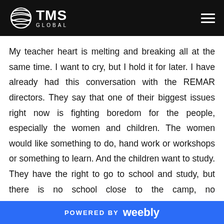TMS GLOBAL
My teacher heart is melting and breaking all at the same time. I want to cry, but I hold it for later. I have already had this conversation with the REMAR directors. They say that one of their biggest issues right now is fighting boredom for the people, especially the women and children. The women would like something to do, hand work or workshops or something to learn. And the children want to study. They have the right to go to school and study, but there is no school close to the camp, no transportation, and no way to provide the school supplies and books that they need. So they cannot go. The volunteers with REMAR are trying to do crafts and play games with the
POWERED BY weebly